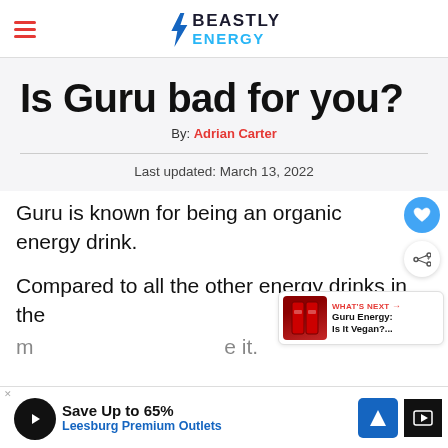BEASTLY ENERGY
Is Guru bad for you?
By: Adrian Carter
Last updated: March 13, 2022
Guru is known for being an organic energy drink.
Compared to all the other energy drinks in the
[Figure (screenshot): Advertisement banner: Save Up to 65% Leesburg Premium Outlets]